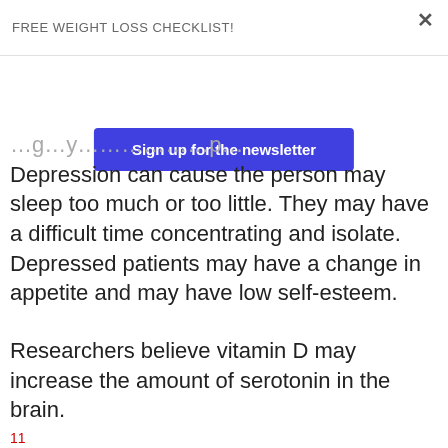FREE WEIGHT LOSS CHECKLIST!
Sign up for the newsletter
…g…y…y…p…
Depression can cause the person may sleep too much or too little. They may have a difficult time concentrating and isolate. Depressed patients may have a change in appetite and may have low self-esteem.
Researchers believe vitamin D may increase the amount of serotonin in the brain.
11